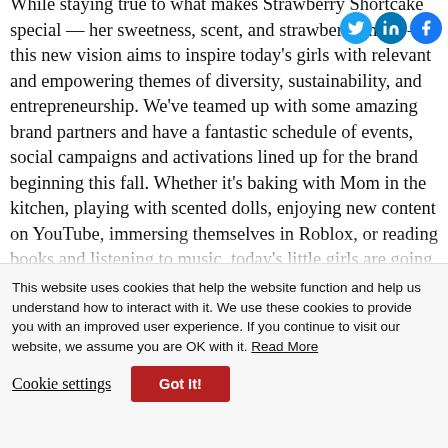While staying true to what makes Strawberry Shortcake special — her sweetness, scent, and strawberry motif — this new vision aims to inspire today's girls with relevant and empowering themes of diversity, sustainability, and entrepreneurship. We've teamed up with some amazing brand partners and have a fantastic schedule of events, social campaigns and activations lined up for the brand beginning this fall. Whether it's baking with Mom in the kitchen, playing with scented dolls, enjoying new content on YouTube, immersing themselves in Roblox, or reading books and listening to music, today's little girls are going to love
This website uses cookies that help the website function and help us understand how to interact with it. We use these cookies to provide you with an improved user experience. If you continue to visit our website, we assume you are OK with it. Read More
Cookie settings | Got It!